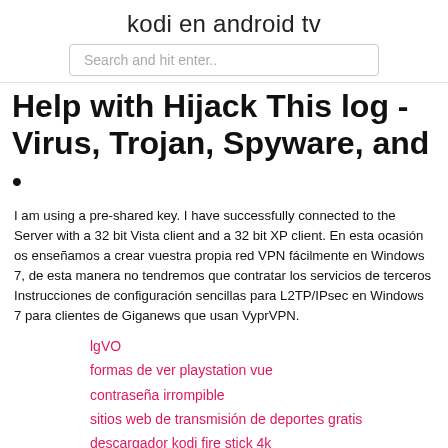kodi en android tv
Search and hit enter..
Help with Hijack This log - Virus, Trojan, Spyware, and
·
I am using a pre-shared key. I have successfully connected to the Server with a 32 bit Vista client and a 32 bit XP client. En esta ocasión os enseñamos a crear vuestra propia red VPN fácilmente en Windows 7, de esta manera no tendremos que contratar los servicios de terceros Instrucciones de configuración sencillas para L2TP/IPsec en Windows 7 para clientes de Giganews que usan VyprVPN.
lgVO
formas de ver playstation vue
contraseña irrompible
sitios web de transmisión de deportes gratis
descargador kodi fire stick 4k